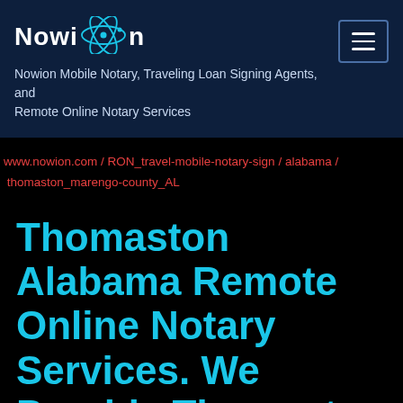[Figure (logo): Nowion logo with atom icon and white bold text on dark navy background]
Nowion Mobile Notary, Traveling Loan Signing Agents, and Remote Online Notary Services
www.nowion.com / RON_travel-mobile-notary-sign / alabama / thomaston_marengo-county_AL
Thomaston Alabama Remote Online Notary Services. We Provide Thomaston Alabama Remote Online Notary